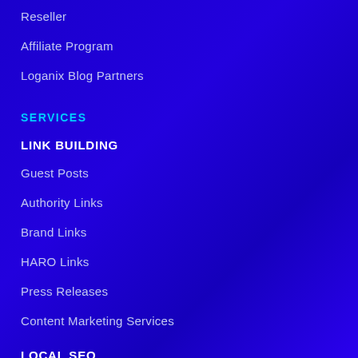Reseller
Affiliate Program
Loganix Blog Partners
SERVICES
LINK BUILDING
Guest Posts
Authority Links
Brand Links
HARO Links
Press Releases
Content Marketing Services
LOCAL SEO
Citation Building
Citation Audit
Citation Cleanup